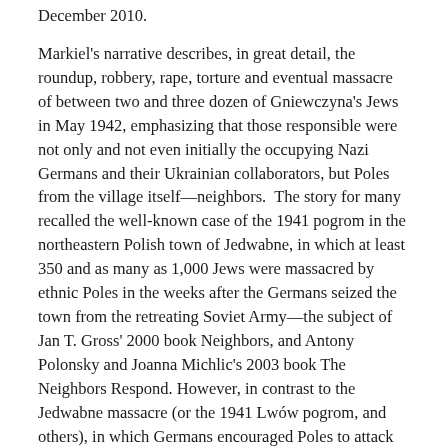December 2010.
Markiel's narrative describes, in great detail, the roundup, robbery, rape, torture and eventual massacre of between two and three dozen of Gniewczyna's Jews in May 1942, emphasizing that those responsible were not only and not even initially the occupying Nazi Germans and their Ukrainian collaborators, but Poles from the village itself—neighbors.  The story for many recalled the well-known case of the 1941 pogrom in the northeastern Polish town of Jedwabne, in which at least 350 and as many as 1,000 Jews were massacred by ethnic Poles in the weeks after the Germans seized the town from the retreating Soviet Army—the subject of Jan T. Gross' 2000 book Neighbors, and Antony Polonsky and Joanna Michlic's 2003 book The Neighbors Respond. However, in contrast to the Jedwabne massacre (or the 1941 Lwów pogrom, and others), in which Germans encouraged Poles to attack Jews on the grounds of purported Jewish sympathy with anti-Polish Soviet policies, Gniewczyna was never occupied by the Soviets. Markiel presents the atrocities in Gniewczyna against its Jews as motivated by ancient communal antipathies rather than proximate political causes.
In May, 2011, I went to Gniewczyna with Jakub Nowakowski, director of the Galicia Jewish Museum in Kraków.  We wanted to look deeper